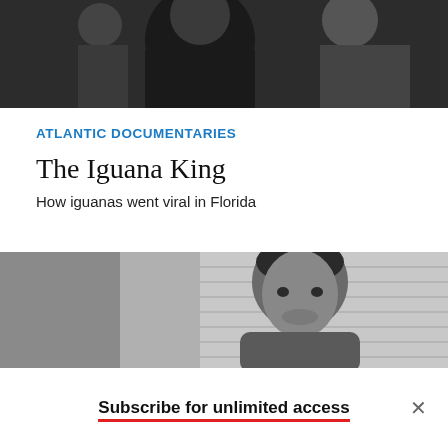[Figure (photo): Top photo showing people, dark tones, documentary still]
ATLANTIC DOCUMENTARIES
The Iguana King
How iguanas went viral in Florida
[Figure (photo): Black and white photo of a man's face, appears to be a documentary subject]
Subscribe for unlimited access